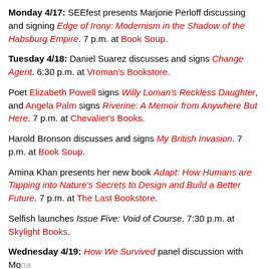Monday 4/17: SEEfest presents Marjorie Perloff discussing and signing Edge of Irony: Modernism in the Shadow of the Habsburg Empire. 7 p.m. at Book Soup.
Tuesday 4/18: Daniel Suarez discusses and signs Change Agent. 6:30 p.m. at Vroman's Bookstore.
Poet Elizabeth Powell signs Willy Loman's Reckless Daughter, and Angela Palm signs Riverine: A Memoir from Anywhere But Here. 7 p.m. at Chevalier's Books.
Harold Bronson discusses and signs My British Invasion. 7 p.m. at Book Soup.
Amina Khan presents her new book Adapt: How Humans are Tapping into Nature's Secrets to Design and Build a Better Future. 7 p.m. at The Last Bookstore.
Selfish launches Issue Five: Void of Course. 7:30 p.m. at Skylight Books.
Wednesday 4/19: How We Survived panel discussion with Mona Simpson and Children Survivors of the Holocaust. 2 p.m. at Diesel...